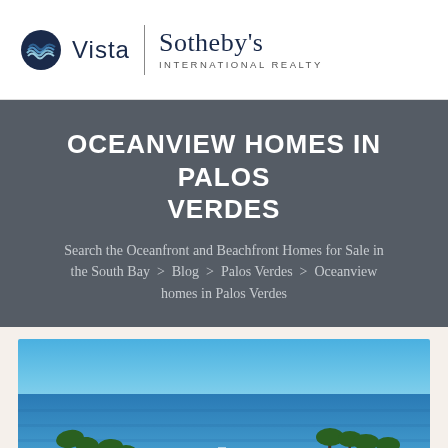[Figure (logo): Vista Sotheby's International Realty logo with circular wave emblem on left, divider bar, then Sotheby's in serif font with INTERNATIONAL REALTY subtitle]
OCEANVIEW HOMES IN PALOS VERDES
Search the Oceanfront and Beachfront Homes for Sale in the South Bay > Blog > Palos Verdes > Oceanview homes in Palos Verdes
[Figure (photo): Aerial coastal photo showing blue ocean, palm trees in foreground, and rooftops of Palos Verdes homes under clear blue sky]